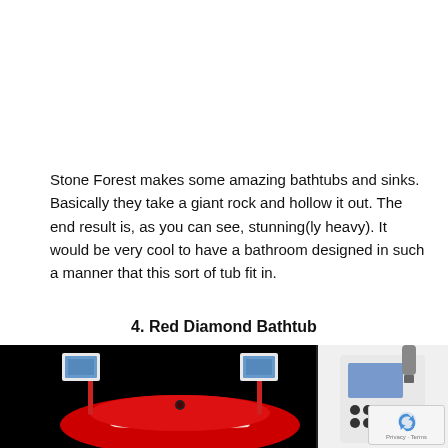Stone Forest makes some amazing bathtubs and sinks. Basically they take a giant rock and hollow it out. The end result is, as you can see, stunning(ly heavy). It would be very cool to have a bathroom designed in such a manner that this sort of tub fit in.
4. Red Diamond Bathtub
[Figure (photo): Photo of the Red Diamond Bathtub — a red diamond-shaped bathtub with white swirl markings on a black background, with two pole-mounted screens/tablets on either side. A second panel on the right shows a close-up of a controller/device. A reCAPTCHA privacy badge is overlaid in the bottom-right corner.]